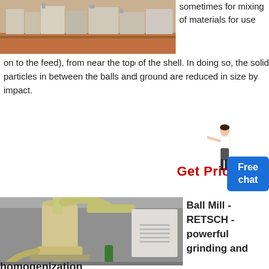[Figure (photo): Aerial or ground-level view of an industrial facility with buildings and reddish-brown earth/soil]
sometimes for mixing of materials for use
on to the feed), from near the top of the shell. In doing so, the solid particles in between the balls and ground are reduced in size by impact.
[Figure (illustration): Woman figure pointing, used as a UI element near Get Price call-to-action]
Get Price
[Figure (infographic): Blue Free chat button/badge]
[Figure (photo): Industrial ball mill or grinding machine in a factory setting, beige/tan colored large cylindrical equipment]
Ball Mill - RETSCH - powerful grinding and
homogenization